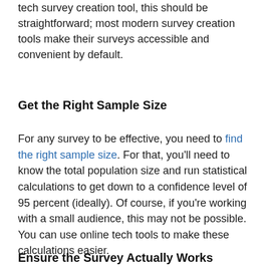tech survey creation tool, this should be straightforward; most modern survey creation tools make their surveys accessible and convenient by default.
Get the Right Sample Size
For any survey to be effective, you need to find the right sample size. For that, you'll need to know the total population size and run statistical calculations to get down to a confidence level of 95 percent (ideally). Of course, if you're working with a small audience, this may not be possible. You can use online tech tools to make these calculations easier.
Ensure the Survey Actually Works